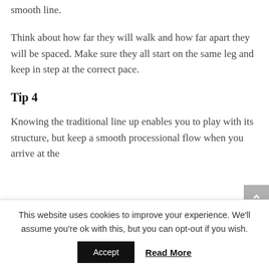how do they pull up well together to form a smooth line.
Think about how far they will walk and how far apart they will be spaced. Make sure they all start on the same leg and keep in step at the correct pace.
Tip 4
Knowing the traditional line up enables you to play with its structure, but keep a smooth processional flow when you arrive at the
This website uses cookies to improve your experience. We'll assume you're ok with this, but you can opt-out if you wish.
Accept   Read More